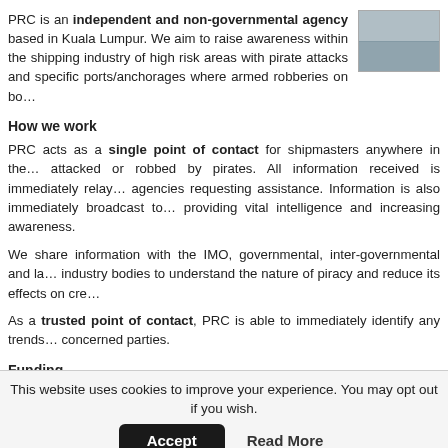PRC is an independent and non-governmental agency based in Kuala Lumpur. We aim to raise awareness within the shipping industry of high risk areas with pirate attacks and specific ports/anchorages where armed robberies on bo…
[Figure (photo): Photo of water/sea scene, partially visible in top-right corner]
How we work
PRC acts as a single point of contact for shipmasters anywhere in the… attacked or robbed by pirates. All information received is immediately relay… agencies requesting assistance. Information is also immediately broadcast to… providing vital intelligence and increasing awareness.
We share information with the IMO, governmental, inter-governmental and la… industry bodies to understand the nature of piracy and reduce its effects on cre…
As a trusted point of contact, PRC is able to immediately identify any trends… concerned parties.
Funding
Our services are free and funded purely by donations. If you believe our work… about piracy and protecting seafarers' lives, please support it by makin… acknowledged on our website and in the quarterly and annual piracy and arm… make a donation.
This website uses cookies to improve your experience. You may opt out if you wish.